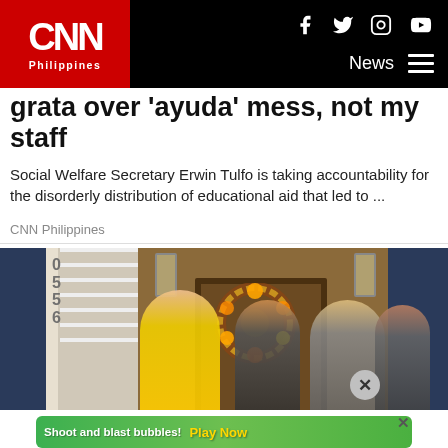CNN Philippines — News
grata over 'ayuda' mess, not my staff
Social Welfare Secretary Erwin Tulfo is taking accountability for the disorderly distribution of educational aid that led to ...
CNN Philippines
[Figure (photo): Group of women standing in front of a house door decorated with a sunflower wreath, house number 556 visible]
[Figure (screenshot): Advertisement banner: Shoot and blast bubbles! Play Now — Bubble Shooter Animal World mobile game ad with green background and cartoon bear character]